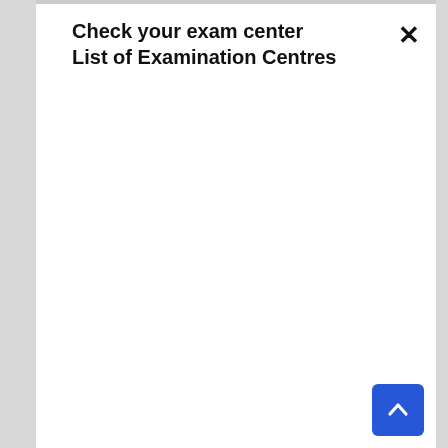Check your exam center
List of Examination Centres
[Figure (screenshot): Close (X) button in top-right corner of modal dialog]
[Figure (screenshot): Scroll-to-top button (blue square with upward chevron arrow) in bottom-right corner]